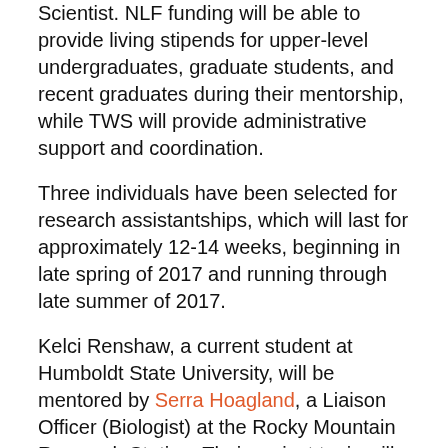Scientist. NLF funding will be able to provide living stipends for upper-level undergraduates, graduate students, and recent graduates during their mentorship, while TWS will provide administrative support and coordination.
Three individuals have been selected for research assistantships, which will last for approximately 12-14 weeks, beginning in late spring of 2017 and running through late summer of 2017.
Kelci Renshaw, a current student at Humboldt State University, will be mentored by Serra Hoagland, a Liaison Officer (Biologist) at the Rocky Mountain Research Station. Their project topic will be “Assessment of wildfire risk in treated and untreated Mexican spotted owl (Strix occidentalis lucida) territories on tribal lands.”
Harlan Tso, a current student at Northern Arizona University, will be mentored by Teresa Lorenz, Research Wildlife Biologist at the Pacific Northwest Research Station. Their project topic will be “Space use, survival, and nesting ecology